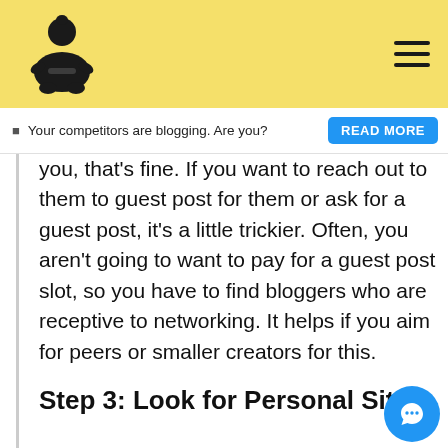[Figure (logo): Sumo wrestler silhouette logo in black on yellow background]
Your competitors are blogging. Are you?  READ MORE
you, that's fine. If you want to reach out to them to guest post for them or ask for a guest post, it's a little trickier. Often, you aren't going to want to pay for a guest post slot, so you have to find bloggers who are receptive to networking. It helps if you aim for peers or smaller creators for this.
Step 3: Look for Personal Sites